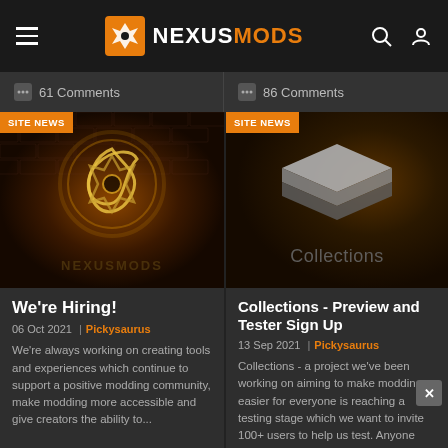NEXUSMODS
61 Comments
86 Comments
[Figure (screenshot): Nexus Mods neon logo on brick wall background with SITE NEWS badge]
We're Hiring!
06 Oct 2021  | Pickysaurus
We're always working on creating tools and experiences which continue to support a positive modding community, make modding more accessible and give creators the ability to...
[Figure (screenshot): Collections stacked layers icon on dark background with SITE NEWS badge]
Collections - Preview and Tester Sign Up
13 Sep 2021  | Pickysaurus
Collections - a project we've been working on aiming to make modding easier for everyone is reaching a testing stage which we want to invite 100+ users to help us test. Anyone who is...